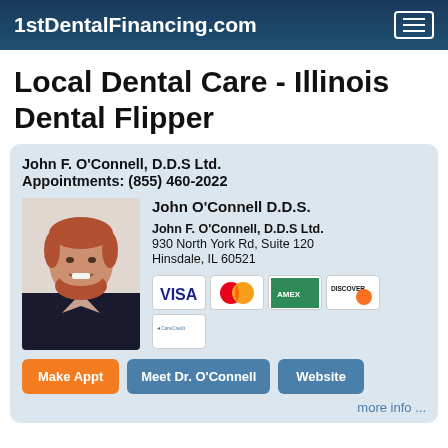1stDentalFinancing.com
Local Dental Care - Illinois Dental Flipper
John F. O'Connell, D.D.S Ltd.
Appointments: (855) 460-2022
[Figure (photo): Headshot photo of Dr. John O'Connell, a man with red beard and hair wearing a dark suit jacket]
John O'Connell D.D.S.
John F. O'Connell, D.D.S Ltd.
930 North York Rd, Suite 120
Hinsdale, IL 60521
[Figure (other): Payment method logos: VISA, MasterCard, American Express, Discover, CareCredit]
Make Appt   Meet Dr. O'Connell   Website
more info ...